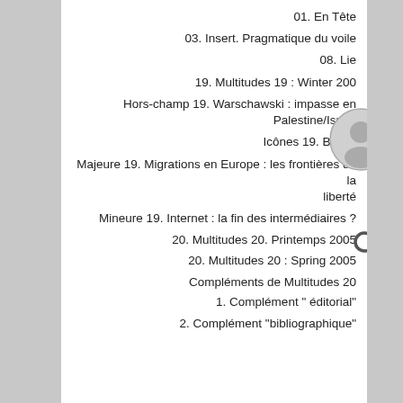01. En Tête
03. Insert. Pragmatique du voile
08. Lie…
19. Multitudes 19 : Winter 200…
Hors-champ 19. Warschawski : impasse en Palestine/Israel
Icônes 19. Bushit
Majeure 19. Migrations en Europe : les frontières de la liberté
Mineure 19. Internet : la fin des intermédiaires ?
20. Multitudes 20. Printemps 2005
20. Multitudes 20 : Spring 2005
Compléments de Multitudes 20
1. Complément " éditorial"
2. Complément "bibliographique"